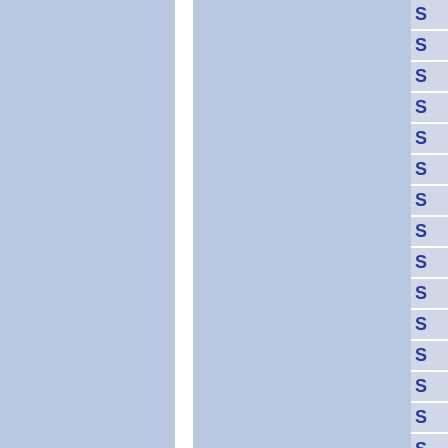[Figure (other): Page layout showing two blue-grey columns separated by a white vertical gap, with a right sidebar containing a vertical list of 'S' letter items in blue on light grey background with white dividers between them.]